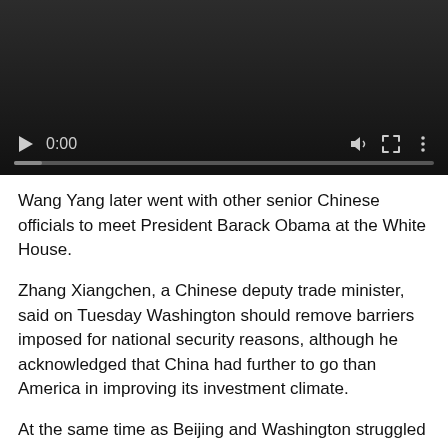[Figure (screenshot): Video player with dark background showing controls: play button, time display '0:00', volume icon, fullscreen icon, more options icon, and a progress bar at the bottom.]
Wang Yang later went with other senior Chinese officials to meet President Barack Obama at the White House.
Zhang Xiangchen, a Chinese deputy trade minister, said on Tuesday Washington should remove barriers imposed for national security reasons, although he acknowledged that China had further to go than America in improving its investment climate.
At the same time as Beijing and Washington struggled over implementing closer economic ties, Europe was weighing